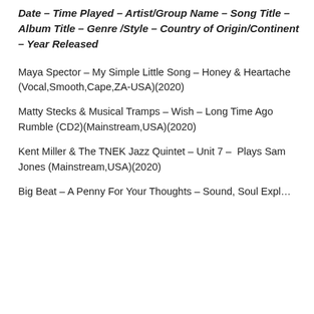Date – Time Played – Artist/Group Name – Song Title – Album Title – Genre /Style – Country of Origin/Continent – Year Released
Maya Spector – My Simple Little Song – Honey & Heartache (Vocal,Smooth,Cape,ZA-USA)(2020)
Matty Stecks & Musical Tramps – Wish – Long Time Ago Rumble (CD2)(Mainstream,USA)(2020)
Kent Miller & The TNEK Jazz Quintet – Unit 7 –  Plays Sam Jones (Mainstream,USA)(2020)
Big Beat – A Penny For Your Thoughts – ...